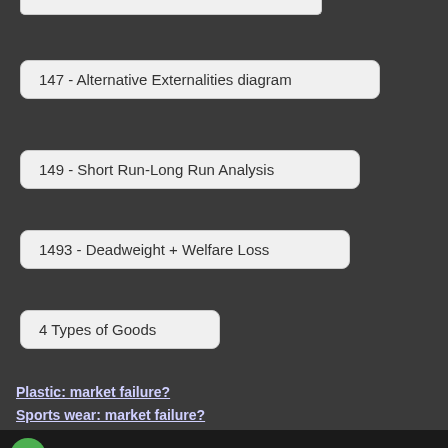147 - Alternative Externalities diagram
149 -  Short Run-Long Run Analysis
1493 - Deadweight + Welfare Loss
4 Types of Goods
Plastic: market failure?
Sports wear: market failure?
[Figure (screenshot): YouTube video embed showing 'Nike vs. adidas detox challenge' with a channel icon featuring a green G logo, three-dots menu, and video thumbnail showing graffiti-style text 'DETOX' with Adidas and Nike branding and a YouTube play button]